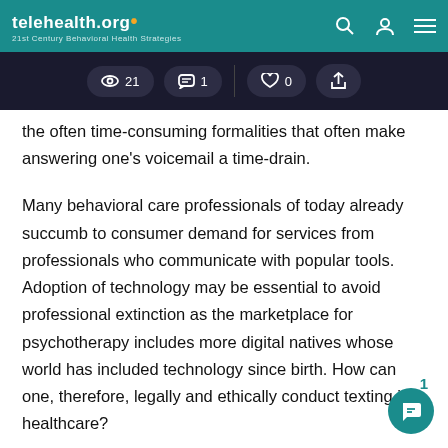telehealth.org — 21st Century Behavioral Health Strategies
21  1  0
the often time-consuming formalities that often make answering one's voicemail a time-drain.
Many behavioral care professionals of today already succumb to consumer demand for services from professionals who communicate with popular tools. Adoption of technology may be essential to avoid professional extinction as the marketplace for psychotherapy includes more digital natives whose world has included technology since birth. How can one, therefore, legally and ethically conduct texting in healthcare?